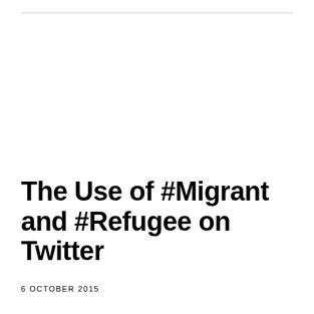The Use of #Migrant and #Refugee on Twitter
6 OCTOBER 2015